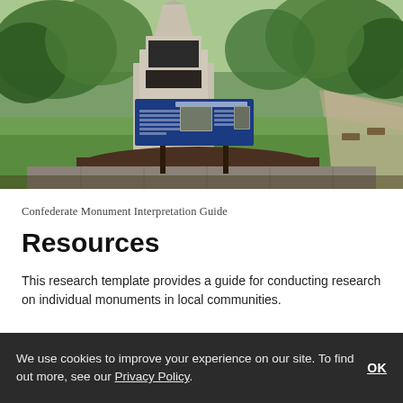[Figure (photo): Outdoor photo of a Confederate monument — a tall stone obelisk on a raised base — in a park setting with green grass and trees. In front of the monument stands a blue interpretive sign panel on two posts.]
Confederate Monument Interpretation Guide
Resources
This research template provides a guide for conducting research on individual monuments in local communities.
We use cookies to improve your experience on our site. To find out more, see our Privacy Policy.